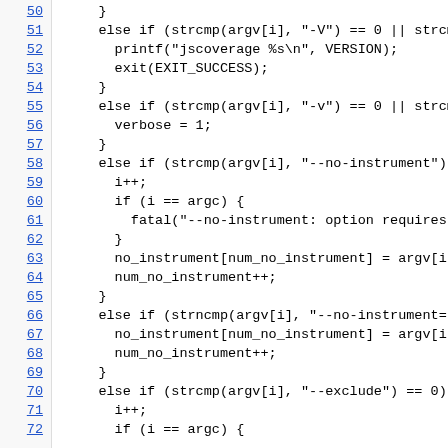[Figure (screenshot): Source code viewer showing C code lines 50-72, with line numbers in blue underlined on the left and code on the right in monospace font.]